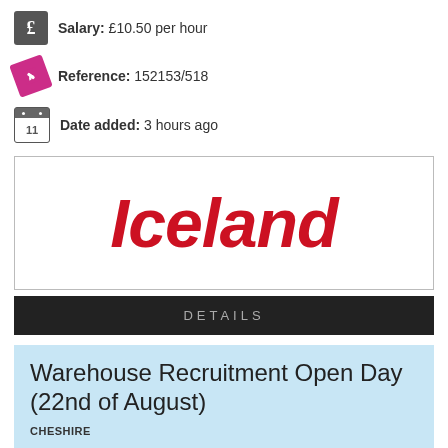Salary: £10.50 per hour
Reference: 152153/518
Date added: 3 hours ago
[Figure (logo): Iceland supermarket logo in bold italic red text]
DETAILS
Warehouse Recruitment Open Day (22nd of August)
CHESHIRE